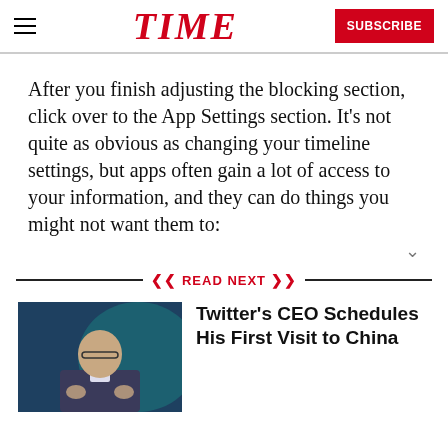TIME | SUBSCRIBE
After you finish adjusting the blocking section, click over to the App Settings section. It’s not quite as obvious as changing your timeline settings, but apps often gain a lot of access to your information, and they can do things you might not want them to:
READ NEXT
[Figure (photo): Photo of Twitter CEO, a bald man in a suit gesturing with hands against a teal background]
Twitter's CEO Schedules His First Visit to China